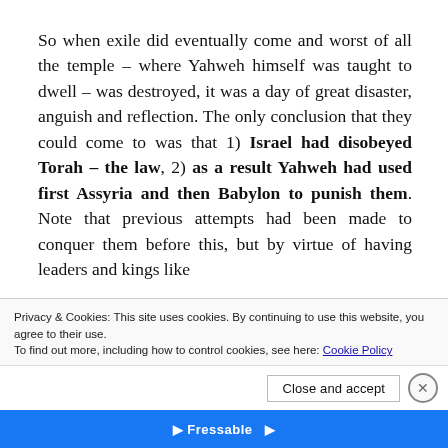So when exile did eventually come and worst of all the temple – where Yahweh himself was taught to dwell – was destroyed, it was a day of great disaster, anguish and reflection. The only conclusion that they could come to was that 1) Israel had disobeyed Torah – the law, 2) as a result Yahweh had used first Assyria and then Babylon to punish them. Note that previous attempts had been made to conquer them before this, but by virtue of having leaders and kings like
Privacy & Cookies: This site uses cookies. By continuing to use this website, you agree to their use.
To find out more, including how to control cookies, see here: Cookie Policy
Close and accept